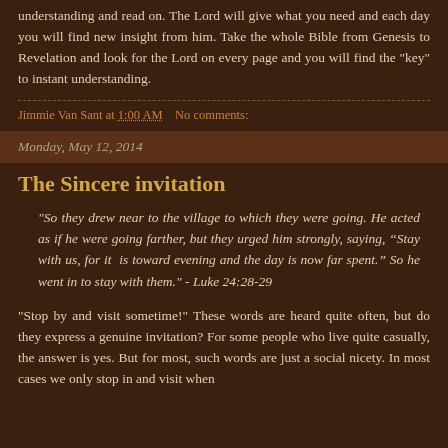understanding and read on. The Lord will give what you need and each day you will find new insight from him. Take the whole Bible from Genesis to Revelation and look for the Lord on every page and you will find the "key" to instant understanding.
Jimmie Van Sant at 1:00 AM   No comments:
Monday, May 12, 2014
The Sincere invitation
"So they drew near to the village to which they were going. He acted as if he were going farther, but they urged him strongly, saying, “Stay with us, for it is toward evening and the day is now far spent.” So he went in to stay with them." - Luke 24:28-29
"Stop by and visit sometime!" These words are heard quite often, but do they express a genuine invitation? For some people who live quite casually, the answer is yes. But for most, such words are just a social nicety. In most cases we only stop in and visit when